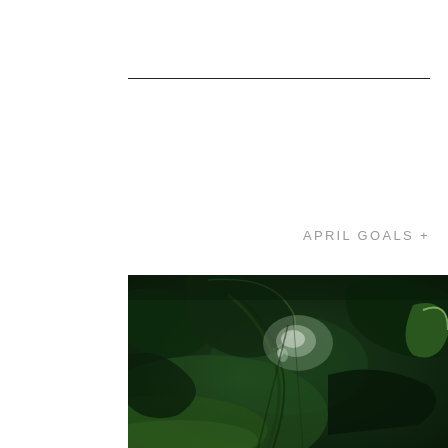APRIL GOALS +
[Figure (photo): Dark moody close-up photograph of green tropical leaves with blurred bokeh background, predominantly dark green tones with bright highlights on leaf edges]